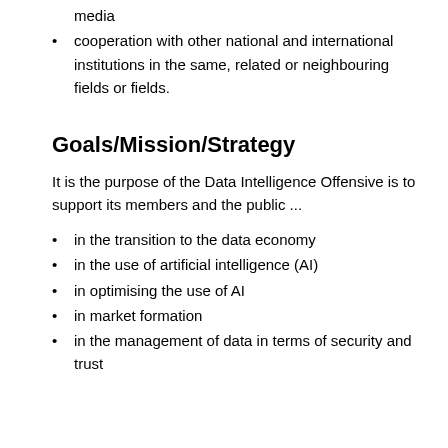media
cooperation with other national and international institutions in the same, related or neighbouring fields or fields.
Goals/Mission/Strategy
It is the purpose of the Data Intelligence Offensive is to support its members and the public ...
in the transition to the data economy
in the use of artificial intelligence (AI)
in optimising the use of AI
in market formation
in the management of data in terms of security and trust